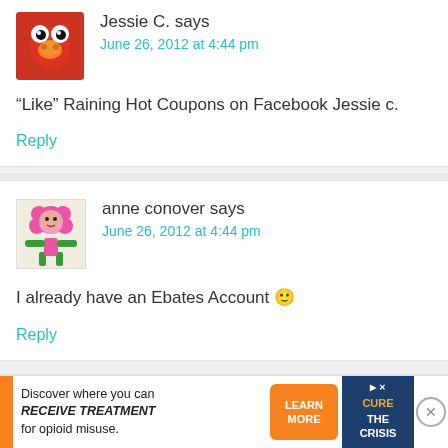Jessie C. says
June 26, 2012 at 4:44 pm
“Like” Raining Hot Coupons on Facebook Jessie c.
Reply
anne conover says
June 26, 2012 at 4:44 pm
I already have an Ebates Account 🙂
Reply
[Figure (infographic): Advertisement banner: Discover where you can RECEIVE TREATMENT for opioid misuse. Learn More button and blue box with pill graphic.]